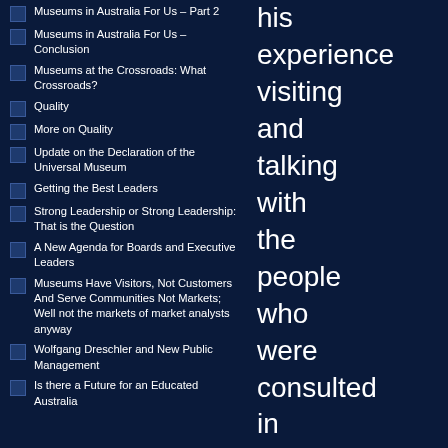Museums in Australia For Us – Part 2
Museums in Australia For Us – Conclusion
Museums at the Crossroads: What Crossroads?
Quality
More on Quality
Update on the Declaration of the Universal Museum
Getting the Best Leaders
Strong Leadership or Strong Leadership: That is the Question
A New Agenda for Boards and Executive Leaders
Museums Have Visitors, Not Customers And Serve Communities Not Markets; Well not the markets of market analysts anyway
Wolfgang Dreschler and New Public Management
Is there a Future for an Educated Australia
his experience visiting and talking with the people who were consulted in the preparation of the report. His comments contrast very strongly